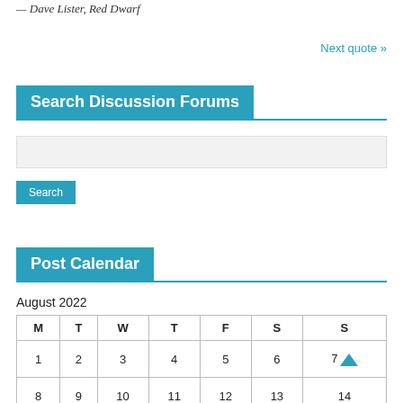— Dave Lister, Red Dwarf
Next quote »
Search Discussion Forums
Post Calendar
August 2022
| M | T | W | T | F | S | S |
| --- | --- | --- | --- | --- | --- | --- |
| 1 | 2 | 3 | 4 | 5 | 6 | 7 |
| 8 | 9 | 10 | 11 | 12 | 13 | 14 |